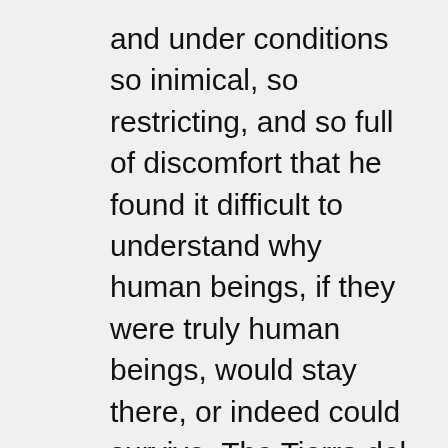and under conditions so inimical, so restricting, and so full of discomfort that he found it difficult to understand why human beings, if they were truly human beings, would stay there, or indeed could survive. The Tierra del Fuegians were forced by circumstance to spend the larger part of their lives in open canoes in which the children grew up, the adults slept and cooked and spent their daily lives, and the aged died. These people, as a consequence, grew up deformed and with an